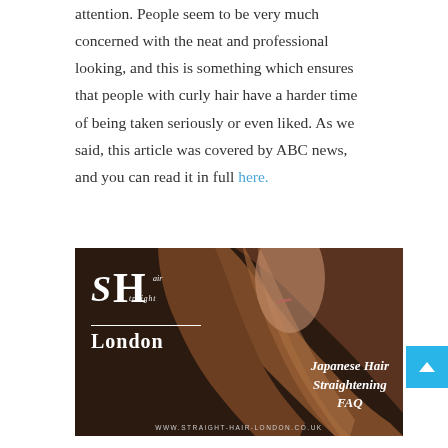attention. People seem to be very much concerned with the neat and professional looking, and this is something which ensures that people with curly hair have a harder time of being taken seriously or even liked. As we said, this article was covered by ABC news, and you can read it in full here.
[Figure (illustration): Advertisement image with dark brown background showing a woman with long straight brown hair. Left side shows the 'SHair Straight London' logo. Right side shows italic bold text reading 'Japanese Hair Straightening FAQ'. Bottom shows website URL: www.straight-hair-london.co.uk]